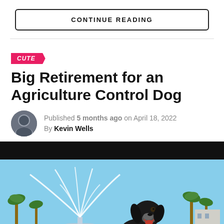CONTINUE READING
Big Retirement for an Agriculture Control Dog
Published 5 months ago on April 18, 2022
By Kevin Wells
[Figure (photo): Black dog sitting in front of a fountain with palm trees and blue sky background]